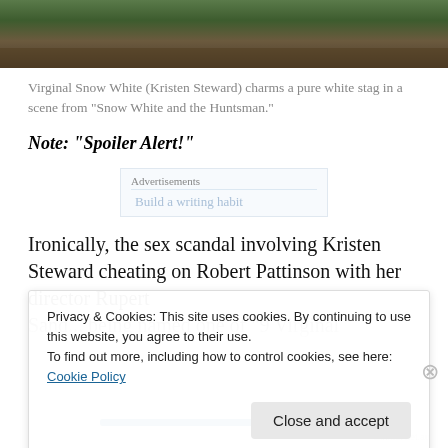[Figure (photo): A nature/forest scene showing a white stag, cropped at top of page]
Virginal Snow White (Kristen Steward) charms a pure white stag in a scene from “Snow White and the Huntsman.”
Note: “Spoiler Alert!”
Advertisements
Build a writing habit
Ironically, the sex scandal involving Kristen Steward cheating on Robert Pattinson with her director Rupert Sand...
Privacy & Cookies: This site uses cookies. By continuing to use this website, you agree to their use.
To find out more, including how to control cookies, see here: Cookie Policy